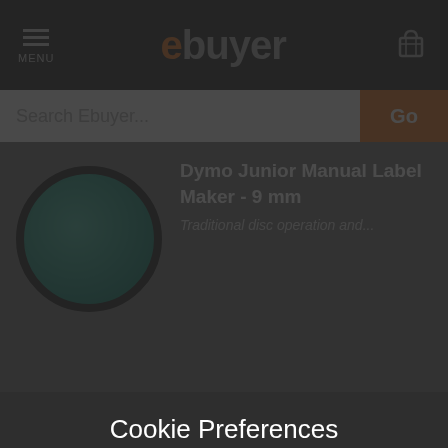ebuyer — MENU / Search Ebuyer... / Go
Dymo Junior Manual Label Maker - 9 mm
Cookie Preferences
We use different types of cookies to optimise your experience on our website. Click the cookie settings button to learn more about their purpose. You may choose which types of cookies to allow and can change your preferences at any time. Remember that disabling cookies may affect your experience on the website. You can learn about how we use cookies by viewing our Cookie Policy.
Amend Your Preference
Accept All Cookies